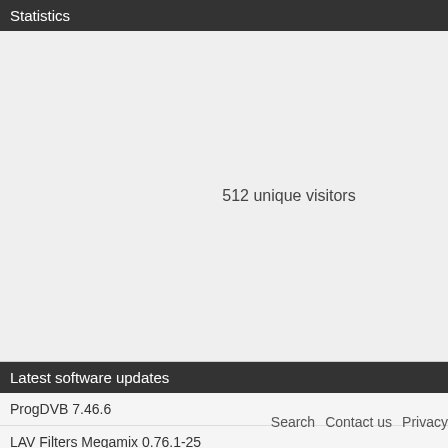Statistics
512 unique visitors
Latest software updates
ProgDVB 7.46.6
LAV Filters Megamix 0.76.1-25
XMedia Recode 3.5.6.5
AvsPmod 2.7.3.0
Search   Contact us   Privacy